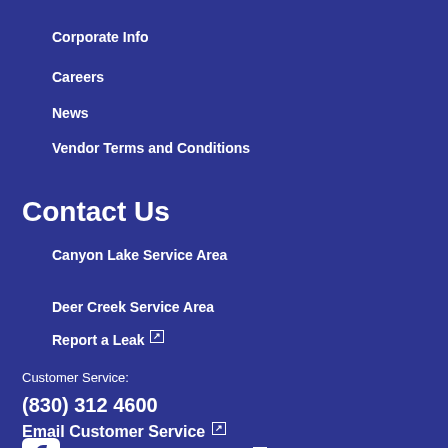Corporate Info
Careers
News
Vendor Terms and Conditions
Contact Us
Canyon Lake Service Area
Deer Creek Service Area
Report a Leak (link)
Customer Service:
(830) 312 4600
Email Customer Service (link)
Follow Us on Facebook (link)